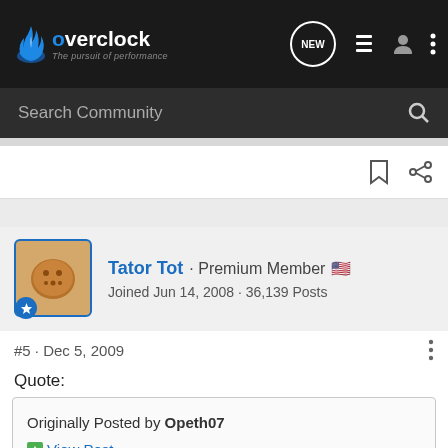overclock.net - The pursuit of performance
Search Community
Tator Tot · Premium Member 🇺🇸
Joined Jun 14, 2008 · 36,139 Posts
#5 · Dec 5, 2009
Quote:
Originally Posted by Opeth07
View Post